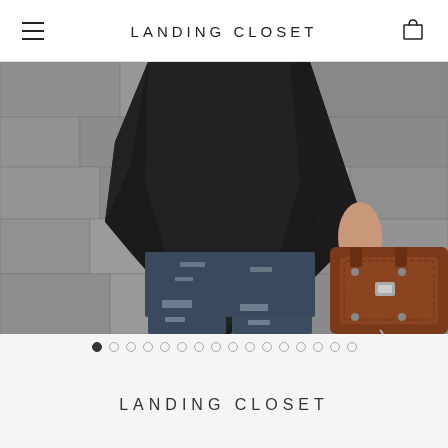LANDING CLOSET
[Figure (photo): Fashion photo of a person wearing a black oversized top and distressed dark wash jeans, holding a brown leather handbag, standing against a stone wall background.]
LANDING CLOSET